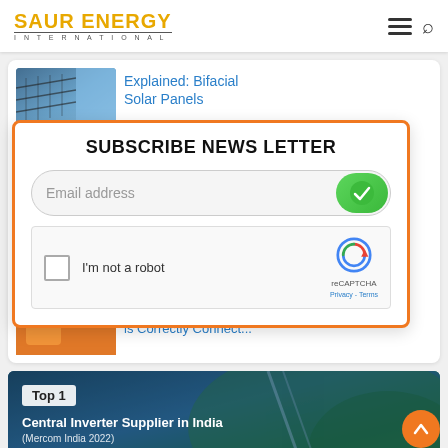[Figure (screenshot): Saur Energy International website header with logo, hamburger menu, and search icon]
Explained: Bifacial Solar Panels
[Figure (screenshot): Newsletter subscribe popup with email field, green checkmark submit button, and reCAPTCHA]
SUBSCRIBE NEWS LETTER
Email address
I'm not a robot
reCAPTCHA
Privacy - Terms
is Correctly Connect...
[Figure (photo): Bottom promotional image showing Top 1 Central Inverter Supplier in India (Mercom India 2022) and Top 2 Solar Inverter Supplier in India, with aerial road and forest background]